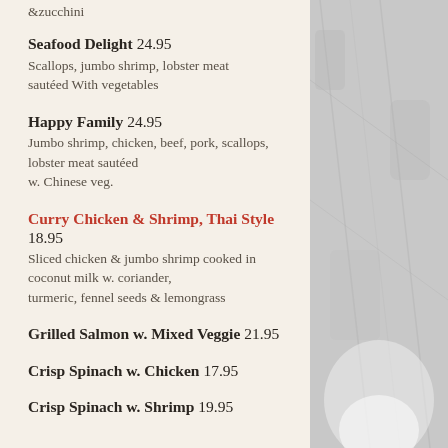&zucchini
Seafood Delight 24.95 - Scallops, jumbo shrimp, lobster meat sautéed With vegetables
Happy Family 24.95 - Jumbo shrimp, chicken, beef, pork, scallops, lobster meat sautéed w. Chinese veg.
Curry Chicken & Shrimp, Thai Style 18.95 - Sliced chicken & jumbo shrimp cooked in coconut milk w. coriander, turmeric, fennel seeds & lemongrass
Grilled Salmon w. Mixed Veggie 21.95
Crisp Spinach w. Chicken 17.95
Crisp Spinach w. Shrimp 19.95